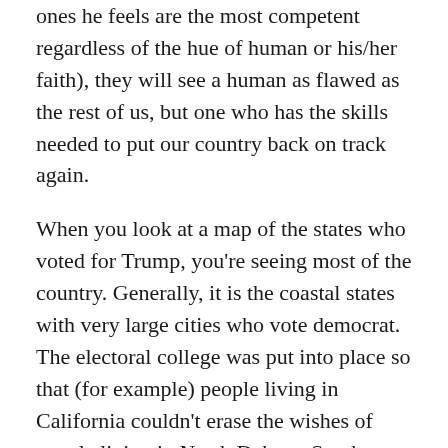ones he feels are the most competent regardless of the hue of human or his/her faith), they will see a human as flawed as the rest of us, but one who has the skills needed to put our country back on track again.
When you look at a map of the states who voted for Trump, you're seeing most of the country. Generally, it is the coastal states with very large cities who vote democrat. The electoral college was put into place so that (for example) people living in California couldn't erase the wishes of people living in North Dakota, South Dakota, and Montana. We are, after all, THESE United states.
Our forebearers gave us the keys to the door of self-government. What conservatives see happening is that people are throwing away the keys for the illusion of